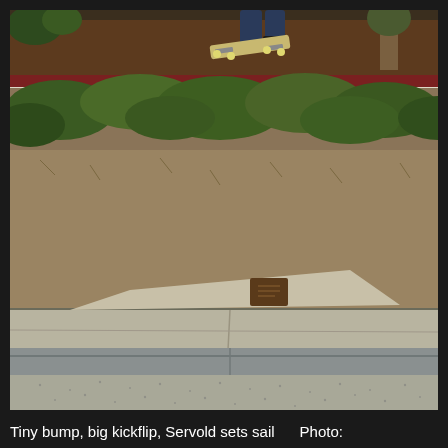[Figure (photo): Outdoor skateboarding photograph showing a skater performing a large kickflip over a small concrete bump/ledge. The skater is airborne at the top of the frame wearing jeans, with the skateboard visible beneath their feet. Background shows a hillside with dry grass, green ivy/shrubs, and a dark brown wall at the top. The lower portion of the image shows concrete curbing and a textured gray surface. There is a small brown plaque or marker on the concrete ramp.]
Tiny bump, big kickflip, Servold sets sail    Photo: